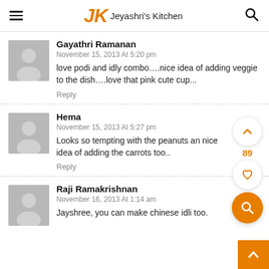JK Jeyashri's Kitchen
Gayathri Ramanan
November 15, 2013 At 5:20 pm
love podi and idly combo….nice idea of adding veggie to the dish….love that pink cute cup...
Reply
Hema
November 15, 2013 At 5:27 pm
Looks so tempting with the peanuts and nice idea of adding the carrots too..
Reply
Raji Ramakrishnan
November 16, 2013 At 1:14 am
Jayshree, you can make chinese idli too.